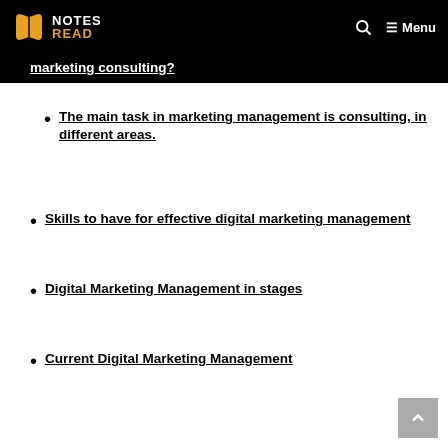NOTES READ | Menu
…[partial text]…marketing consulting?
The main task in marketing management is consulting, in different areas.
Skills to have for effective digital marketing management
Digital Marketing Management in stages
Current Digital Marketing Management